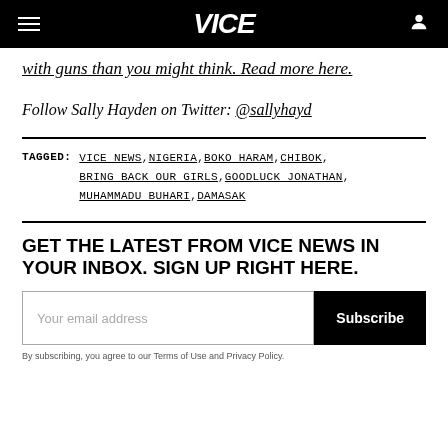VICE
with guns than you might think. Read more here.
Follow Sally Hayden on Twitter: @sallyhayd
TAGGED: VICE NEWS, NIGERIA, BOKO HARAM, CHIBOK, BRING BACK OUR GIRLS, GOODLUCK JONATHAN, MUHAMMADU BUHARI, DAMASAK
GET THE LATEST FROM VICE NEWS IN YOUR INBOX. SIGN UP RIGHT HERE.
Your email address
Subscribe